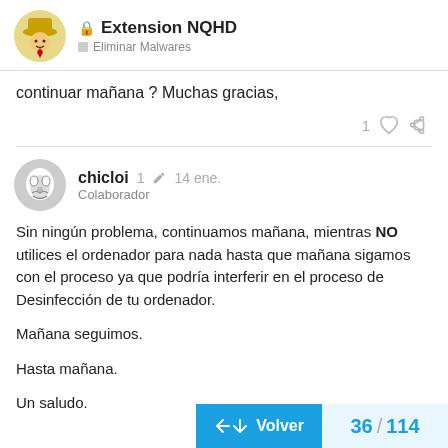Extension NQHD — Eliminar Malwares
continuar mañana ? Muchas gracias,
chicloi  1 ✏  14 ene.
Colaborador
Sin ningún problema, continuamos mañana, mientras NO utilices el ordenador para nada hasta que mañana sigamos con el proceso ya que podría interferir en el proceso de Desinfección de tu ordenador.

Mañana seguimos.

Hasta mañana.

Un saludo.